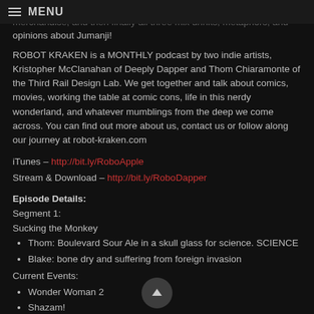MENU
joins. There to talk about their upcoming convention schedule and merchandise, and then finally all three mix drinks, metaphors, and opinions about Jumanji!
ROBOT KRAKEN is a MONTHLY podcast by two indie artists, Kristopher McClanahan of Deeply Dapper and Thom Chiaramonte of the Third Rail Design Lab. We get together and talk about comics, movies, working the table at comic cons, life in this nerdy wonderland, and whatever mumblings from the deep we come across. You can find out more about us, contact us or follow along our journey at robot-kraken.com
iTunes – http://bit.ly/RoboApple
Stream & Download – http://bit.ly/RoboDapper
Episode Details:
Segment 1:
Sucking the Monkey
Thom: Boulevard Sour Ale in a skull glass for science. SCIENCE
Blake: bone dry and suffering from foreign invasion
Current Events:
Wonder Woman 2
Shazam!
The Rock Filmography
Expanse S03